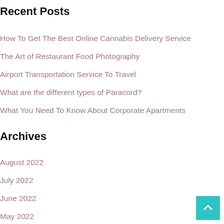Recent Posts
How To Get The Best Online Cannabis Delivery Service
The Art of Restaurant Food Photography
Airport Transportation Service To Travel
What are the different types of Paracord?
What You Need To Know About Corporate Apartments
Archives
August 2022
July 2022
June 2022
May 2022